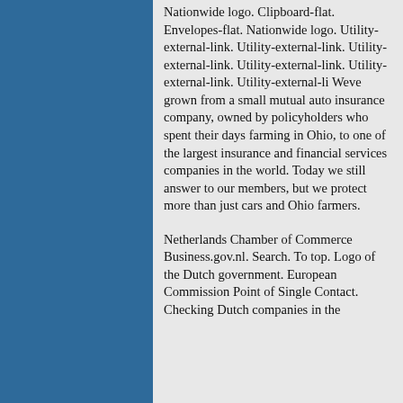Nationwide logo. Clipboard-flat. Envelopes-flat. Nationwide logo. Utility-external-link. Utility-external-link. Utility-external-link. Utility-external-link. Utility-external-link. Utility-external-li Weve grown from a small mutual auto insurance company, owned by policyholders who spent their days farming in Ohio, to one of the largest insurance and financial services companies in the world. Today we still answer to our members, but we protect more than just cars and Ohio farmers.
Netherlands Chamber of Commerce Business.gov.nl. Search. To top. Logo of the Dutch government. European Commission Point of Single Contact. Checking Dutch companies in the